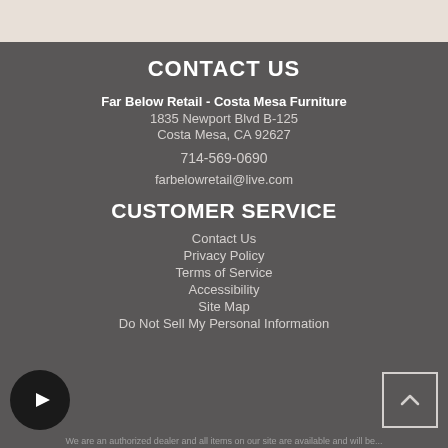CONTACT US
Far Below Retail - Costa Mesa Furniture
1835 Newport Blvd B-125
Costa Mesa, CA 92627
714-569-0690
farbelowretail@live.com
CUSTOMER SERVICE
Contact Us
Privacy Policy
Terms of Service
Accessibility
Site Map
Do Not Sell My Personal Information
[Figure (logo): Black circular social media icon (Rumble/play button logo) at bottom left]
[Figure (other): Dark square back-to-top button with upward caret arrow at bottom right]
We are an authorized dealer and all items on our site are available and will be...